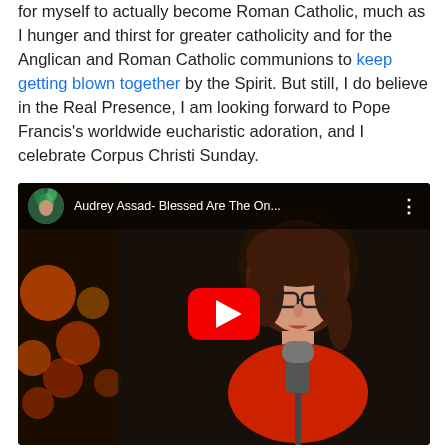for myself to actually become Roman Catholic, much as I hunger and thirst for greater catholicity and for the Anglican and Roman Catholic communions to keep getting blown together by the Spirit. But still, I do believe in the Real Presence, I am looking forward to Pope Francis's worldwide eucharistic adoration, and I celebrate Corpus Christi Sunday.
[Figure (screenshot): YouTube video thumbnail showing Audrey Assad - Blessed Are The On... with a woman with red-brown hair singing into a microphone, wearing glasses and a red top, with bokeh lights in background. Red YouTube play button in center.]